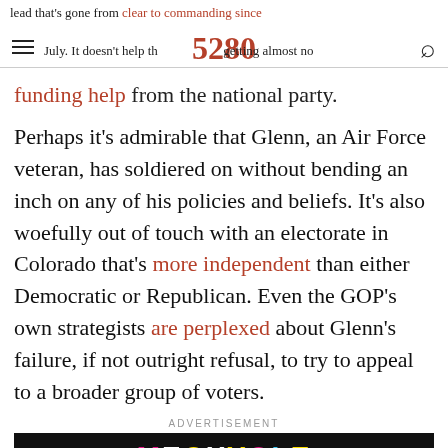lead that's gone from clear to commanding since July. It doesn't help that Collins is getting almost no funding help from the national party.
funding help from the national party.
Perhaps it's admirable that Glenn, an Air Force veteran, has soldiered on without bending an inch on any of his policies and beliefs. It's also woefully out of touch with an electorate in Colorado that's more independent than either Democratic or Republican. Even the GOP's own strategists are perplexed about Glenn's failure, if not outright refusal, to try to appeal to a broader group of voters.
ADVERTISEMENT
[Figure (other): Advertisement banner with colorful MEOXVOLE text on black background]